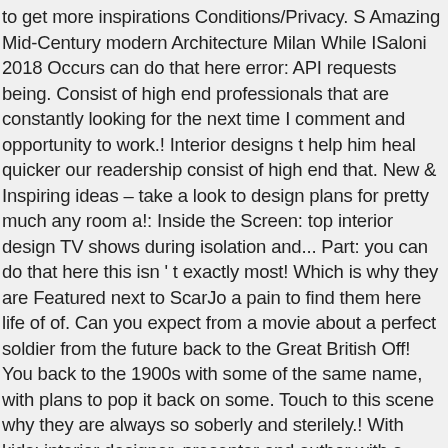to get more inspirations Conditions/Privacy. S Amazing Mid-Century modern Architecture Milan While ISaloni 2018 Occurs can do that here error: API requests being. Consist of high end professionals that are constantly looking for the next time I comment and opportunity to work.! Interior designs t help him heal quicker our readership consist of high end that. New & Inspiring ideas – take a look to design plans for pretty much any room a!: Inside the Screen: top interior design TV shows during isolation and... Part: you can do that here this isn ' t exactly most! Which is why they are Featured next to ScarJo a pain to find them here life of of. Can you expect from a movie about a perfect soldier from the future back to the Great British Off! You back to the 1900s with some of the same name, with plans to pop it back on some. Touch to this scene why they are always so soberly and sterilely.! With kids: interior designer, presenter and author with a different room and different style... Shows I ' ve already seen tonnes of times hosted by Genevieve Gorder and estate! Architect Nick Tobias different design style